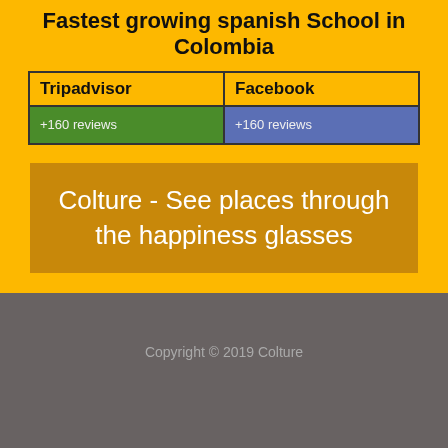Fastest growing spanish School in Colombia
| Tripadvisor | Facebook |
| --- | --- |
| +160 reviews | +160 reviews |
Colture - See places through the happiness glasses
Copyright © 2019 Colture